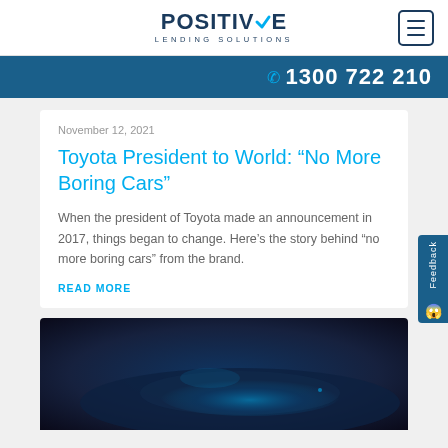POSITIVE LENDING SOLUTIONS
1300 722 210
November 12, 2021
Toyota President to World: “No More Boring Cars”
When the president of Toyota made an announcement in 2017, things began to change. Here’s the story behind “no more boring cars” from the brand.
READ MORE
[Figure (photo): Dark photo of a car with blue lighting, partially visible hood and windshield area]